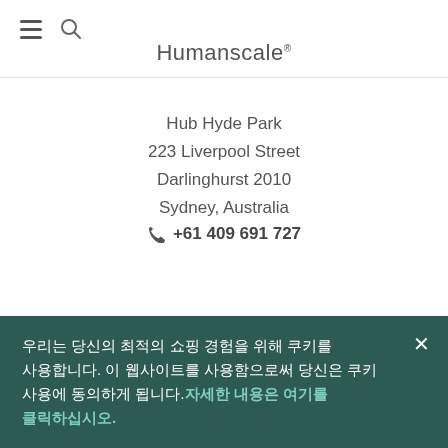Humanscale®
Hub Hyde Park
223 Liverpool Street
Darlinghurst 2010
Sydney, Australia
+61 409 691 727
North America
[Figure (map): World map silhouette showing North America highlighted in dark teal/green and other continents in light grey]
우리는 당신의 최적의 쇼핑 경험을 위해 쿠키를 사용합니다. 이 웹사이트를 사용함으로써 당신은 쿠키 사용에 동의하게 됩니다.자세한 내용은 여기를 클릭하십시오.